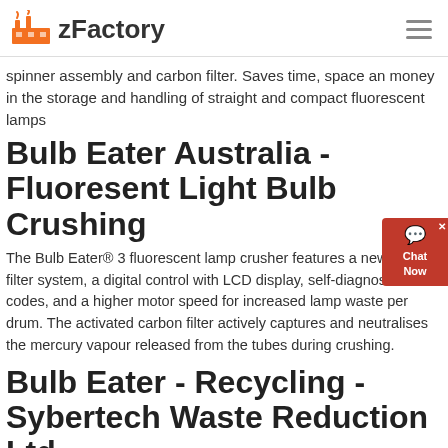zFactory
spinner assembly and carbon filter. Saves time, space an money in the storage and handling of straight and compact fluorescent lamps
Bulb Eater Australia - Fluoresent Light Bulb Crushing
The Bulb Eater® 3 fluorescent lamp crusher features a new 5 stage filter system, a digital control with LCD display, self-diagnostic fault codes, and a higher motor speed for increased lamp waste per drum. The activated carbon filter actively captures and neutralises the mercury vapour released from the tubes during crushing.
Bulb Eater - Recycling - Sybertech Waste Reduction Ltd
...
2021-4-4 · The Bulb Eater 3 system not only crushes spent fluorescent